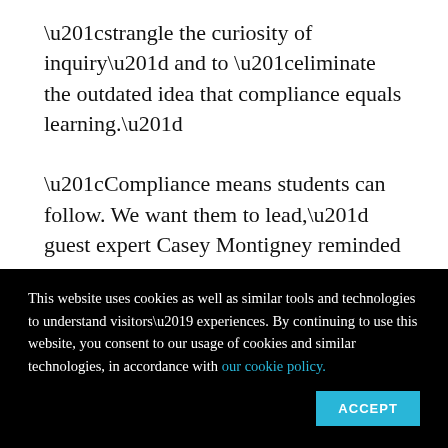“strangle the curiosity of inquiry” and to “eliminate the outdated idea that compliance equals learning.”
“Compliance means students can follow. We want them to lead,” guest expert Casey Montigney reminded the panel.
When determining if one’s approach to blended learning is on the side of agency, it is important
This website uses cookies as well as similar tools and technologies to understand visitors’ experiences. By continuing to use this website, you consent to our usage of cookies and similar technologies, in accordance with our cookie policy.